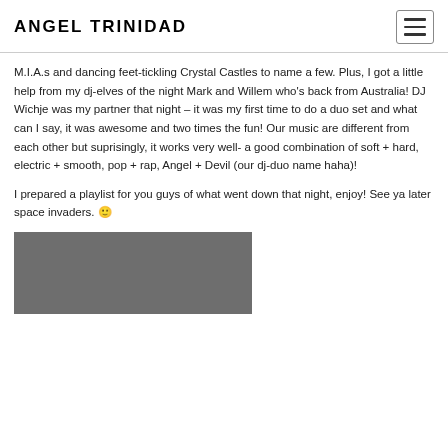ANGEL TRINIDAD
M.I.A.s and dancing feet-tickling Crystal Castles to name a few. Plus, I got a little help from my dj-elves of the night Mark and Willem who's back from Australia! DJ Wichje was my partner that night – it was my first time to do a duo set and what can I say, it was awesome and two times the fun! Our music are different from each other but suprisingly, it works very well- a good combination of soft + hard, electric + smooth, pop + rap, Angel + Devil (our dj-duo name haha)!
I prepared a playlist for you guys of what went down that night, enjoy! See ya later space invaders. 🙂
[Figure (photo): Gray/dark image placeholder at bottom of page]